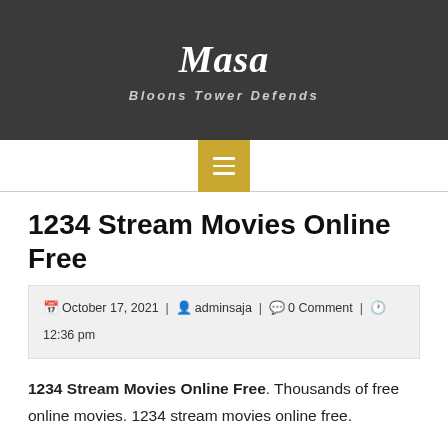Masa – Bloons Tower Defends
1234 Stream Movies Online Free
October 17, 2021 | adminsaja | 0 Comment | 12:36 pm
1234 Stream Movies Online Free. Thousands of free online movies. 1234 stream movies online free.